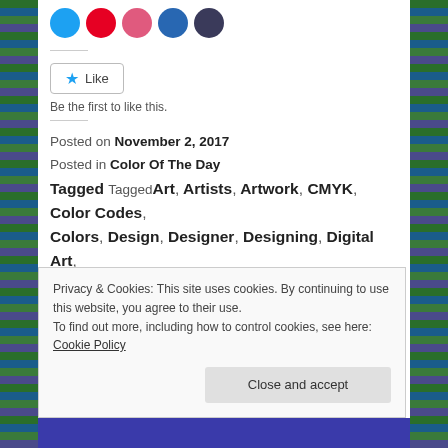[Figure (other): Row of social media share buttons as colored circles: Twitter (blue), Pinterest (red), Tumblr (pink-red), LinkedIn (blue), More (dark blue)]
[Figure (other): Like button with star icon and text 'Like']
Be the first to like this.
Posted on November 2, 2017
Posted in Color Of The Day
Tagged Art, Artists, Artwork, CMYK, Color Codes, Colors, Design, Designer, Designing, Digital Art, Digital Artist, Digital Painting, HTML, Inspiration, Photoshop, RGB, Sample.
Privacy & Cookies: This site uses cookies. By continuing to use this website, you agree to their use.
To find out more, including how to control cookies, see here: Cookie Policy
Close and accept